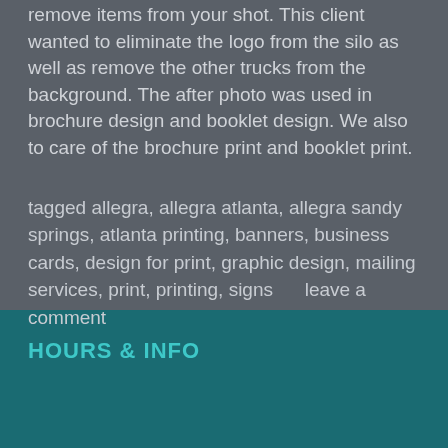remove items from your shot. This client wanted to eliminate the logo from the silo as well as remove the other trucks from the background. The after photo was used in brochure design and booklet design. We also to care of the brochure print and booklet print.
tagged allegra, allegra atlanta, allegra sandy springs, atlanta printing, banners, business cards, design for print, graphic design, mailing services, print, printing, signs     leave a comment
HOURS & INFO